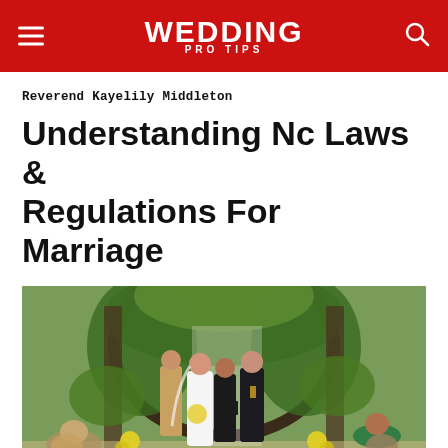WEDDING PRO TIPS
Reverend Kayelily Middleton
Understanding Nc Laws & Regulations For Marriage
[Figure (photo): Outdoor wedding ceremony with bride in white gown and veil holding yellow flowers, officiant in black, groom in military dress uniform, bridesmaids, and guests seated, under a vine-covered arch with green foliage and yellow floral decorations.]